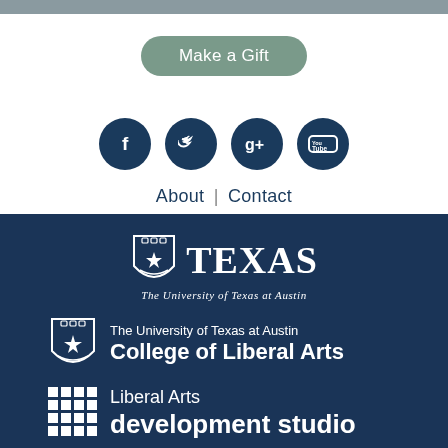[Figure (other): Gray top bar stripe]
[Figure (other): Make a Gift button (rounded green-gray pill button)]
[Figure (other): Social media icons: Facebook, Twitter, Google+, YouTube — all dark navy circles]
About | Contact
[Figure (logo): University of Texas at Austin logo — shield crest with TEXAS wordmark and subtitle 'The University of Texas at Austin']
[Figure (logo): The University of Texas at Austin College of Liberal Arts logo with shield crest]
[Figure (logo): Liberal Arts development studio logo with grid of squares icon]